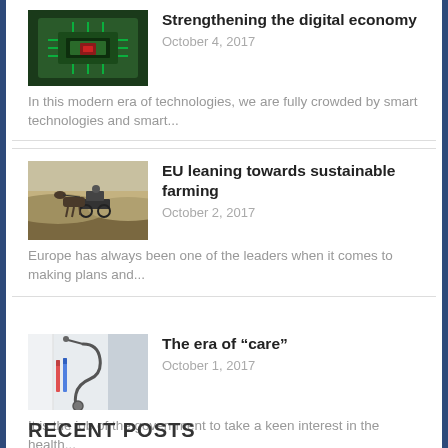[Figure (photo): Thumbnail image of a green glowing circuit board or microchip]
Strengthening the digital economy
October 4, 2017
In this modern era of technologies, we are fully crowded by smart technologies and smart...
[Figure (photo): Thumbnail image of a person driving a horse-drawn cart on a dirt road in a rural landscape]
EU leaning towards sustainable farming
October 2, 2017
Europe has always been one of the leaders when it comes to making plans and...
[Figure (photo): Thumbnail image of a doctor or medical professional with a stethoscope]
The era of “care”
October 1, 2017
It is the job of the government to take a keen interest in the health...
RECENT POSTS